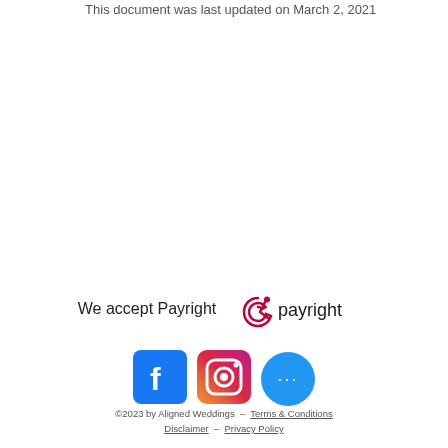This document was last updated on March 2, 2021
We accept Payright
[Figure (logo): Payright logo — stylized 'R' symbol followed by 'payright' text in dark red/maroon color]
[Figure (logo): Facebook icon — white 'f' on blue square with rounded corners]
[Figure (logo): Instagram icon — camera outline with gradient background (purple to orange)]
[Figure (other): Blue circular button with three white dots (more options)]
©2023 by Aligned Weddings  ·  Terms & Conditions  ·  Disclaimer  ·  Privacy Policy